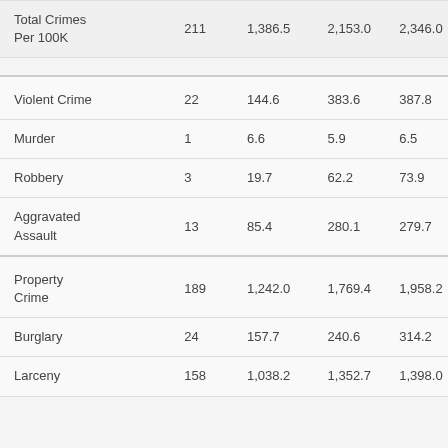| Total Crimes Per 100K | 211 | 1,386.5 | 2,153.0 | 2,346.0 |
| Violent Crime | 22 | 144.6 | 383.6 | 387.8 |
| Murder | 1 | 6.6 | 5.9 | 6.5 |
| Robbery | 3 | 19.7 | 62.2 | 73.9 |
| Aggravated Assault | 13 | 85.4 | 280.1 | 279.7 |
| Property Crime | 189 | 1,242.0 | 1,769.4 | 1,958.2 |
| Burglary | 24 | 157.7 | 240.6 | 314.2 |
| Larceny | 158 | 1,038.2 | 1,352.7 | 1,398.0 |